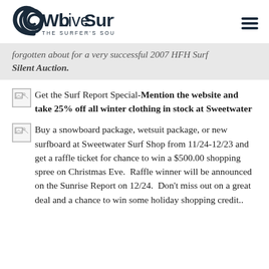WbLiveSurf — THE SURFER'S SOURCE
forgotten about for a very successful 2007 HFH Surf Silent Auction.
Get the Surf Report Special-Mention the website and take 25% off all winter clothing in stock at Sweetwater
Buy a snowboard package, wetsuit package, or new surfboard at Sweetwater Surf Shop from 11/24-12/23 and get a raffle ticket for chance to win a $500.00 shopping spree on Christmas Eve.  Raffle winner will be announced on the Sunrise Report on 12/24.  Don't miss out on a great deal and a chance to win some holiday shopping credit..